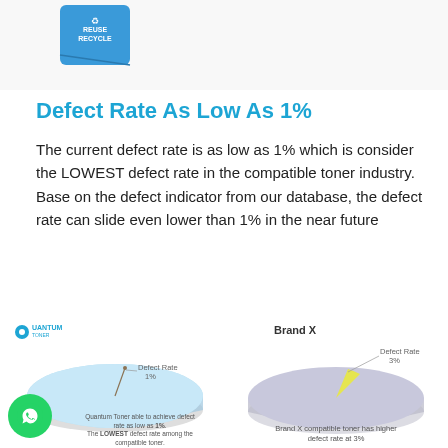[Figure (photo): Top portion showing recycling bin with Reuse Recycle text on left and Quantum Toner cartridge on right]
Defect Rate As Low As 1%
The current defect rate is as low as 1% which is consider the LOWEST defect rate in the compatible toner industry. Base on the defect indicator from our database, the defect rate can slide even lower than 1% in the near future
[Figure (pie-chart): Quantum Toner - Defect Rate 1%]
Quantum Toner able to achieve defect rate as low as 1%. The LOWEST defect rate among the compatible toner.
[Figure (pie-chart): Brand X - Defect Rate 3%]
Brand X compatible toner has higher defect rate at 3%